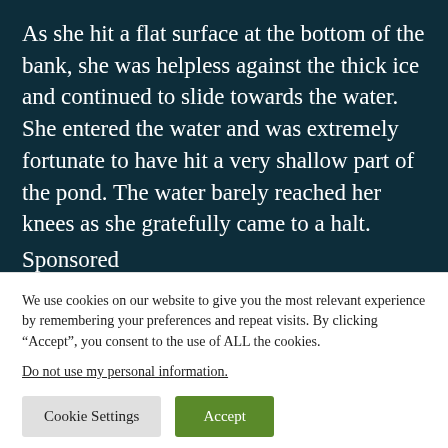As she hit a flat surface at the bottom of the bank, she was helpless against the thick ice and continued to slide towards the water. She entered the water and was extremely fortunate to have hit a very shallow part of the pond. The water barely reached her knees as she gratefully came to a halt.
Sponsored
Small Group Ice Caving
We use cookies on our website to give you the most relevant experience by remembering your preferences and repeat visits. By clicking “Accept”, you consent to the use of ALL the cookies.
Do not use my personal information.
Cookie Settings
Accept